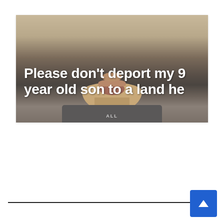[Figure (photo): A photograph of a young boy's face (chin and lower face visible), wearing a dark gray t-shirt, with white bold overlay text reading 'Please don't deport my 9 year old son to a land he']
Please don't deport my 9 year old son to a land he